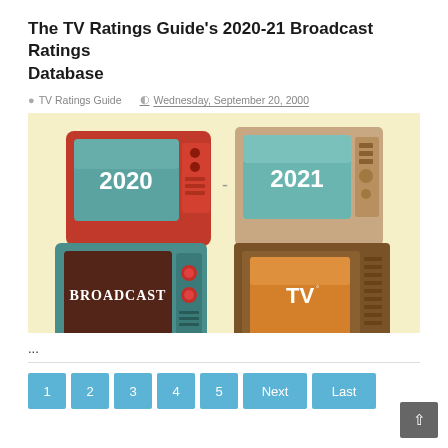The TV Ratings Guide's 2020-21 Broadcast Ratings Database
TV Ratings Guide   Wednesday, September 20, 2000
[Figure (illustration): Retro-style illustration showing four vintage television sets on a cream/yellow background. Top-left TV shows '2020' in teal screen with red body. Top-right TV shows '2021' in teal screen with tan/beige body. Bottom-left TV shows 'BROADCAST' in dark brown screen with teal body. Bottom-right TV shows 'TV' in orange screen with brown/wood body.]
...
1  2  3  4  5  Next  Last